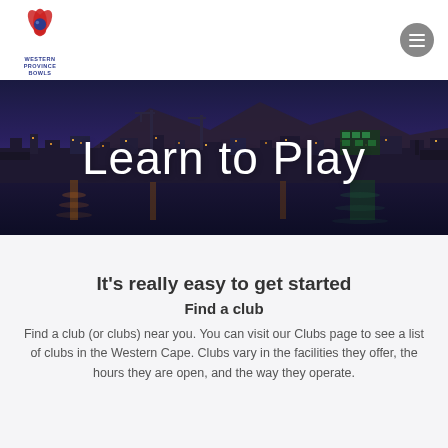Western Province Bowls
[Figure (photo): Night panoramic photo of Cape Town waterfront with Table Mountain in the background, lit up with city lights reflecting on the water. Overlay text reads 'Learn to Play'.]
It's really easy to get started
Find a club
Find a club (or clubs) near you. You can visit our Clubs page to see a list of clubs in the Western Cape. Clubs vary in the facilities they offer, the hours they are open, and the way they operate.